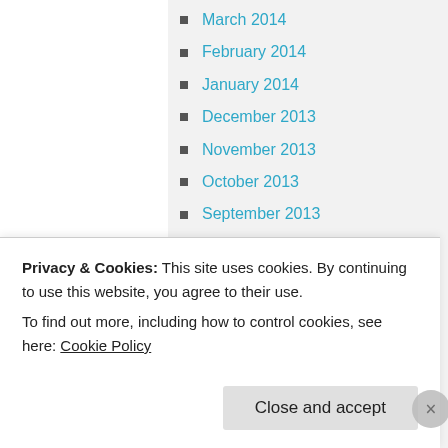March 2014
February 2014
January 2014
December 2013
November 2013
October 2013
September 2013
August 2013
July 2013
June 2013
May 2013
April 2013
March 2013
February 2013
Privacy & Cookies: This site uses cookies. By continuing to use this website, you agree to their use.
To find out more, including how to control cookies, see here: Cookie Policy
Close and accept